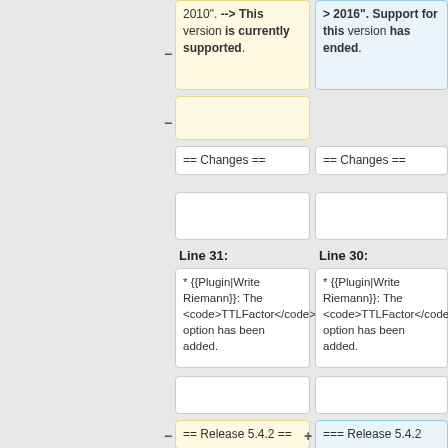2010". --> This version is currently supported.
> 2016". Support for this version has ended.
== Changes ==
== Changes ==
Line 31:
Line 30:
* {{Plugin|Write Riemann}}: The <code>TTLFactor</code> option has been added.
* {{Plugin|Write Riemann}}: The <code>TTLFactor</code> option has been added.
== Release 5.4.2 ==
=== Release 5.4.2 ===